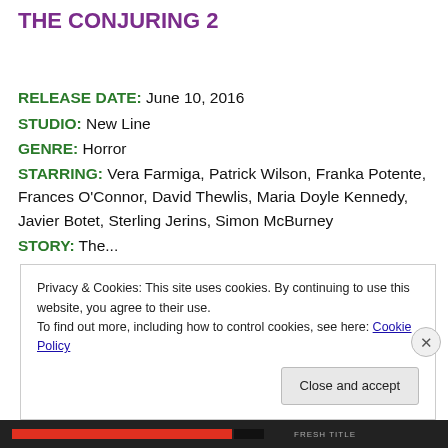THE CONJURING 2
RELEASE DATE: June 10, 2016
STUDIO: New Line
GENRE: Horror
STARRING: Vera Farmiga, Patrick Wilson, Franka Potente, Frances O'Connor, David Thewlis, Maria Doyle Kennedy, Javier Botet, Sterling Jerins, Simon McBurney
STORY: The...
Privacy & Cookies: This site uses cookies. By continuing to use this website, you agree to their use.
To find out more, including how to control cookies, see here: Cookie Policy
Close and accept